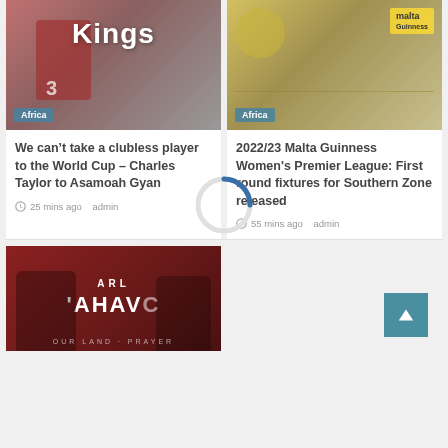[Figure (photo): Sports photo left - player in red jersey with number 3, Ghana football context. 'Kings' text overlay. Africa badge bottom left.]
[Figure (photo): Sports photo right - Malta Guinness branding, yellow background with logos. Africa badge bottom left.]
We can't take a clubless player to the World Cup – Charles Taylor to Asamoah Gyan
25 mins ago  admin
2022/23 Malta Guinness Women's Premier League: First round fixtures for Southern Zone released
55 mins ago  admin
[Figure (photo): Bottom left image - dark red/maroon background with people and text 'YAHAVO' visible]
[Figure (other): Loading spinner circle in center of page]